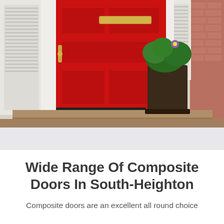[Figure (photo): A bright red front door with brass letterbox and door handle, flanked by white shuttered windows and brick columns, with brownstone steps leading up and a potted plant with green foliage and purple flower to the right of the door.]
Wide Range Of Composite Doors In South-Heighton
Composite doors are an excellent all round choice